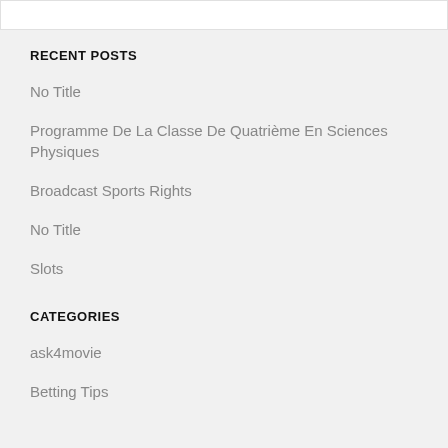RECENT POSTS
No Title
Programme De La Classe De Quatrième En Sciences Physiques
Broadcast Sports Rights
No Title
Slots
CATEGORIES
ask4movie
Betting Tips